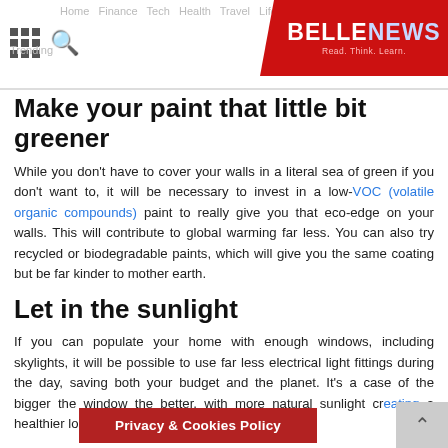BELLE NEWS — Read. Think. Learn.
Make your paint that little bit greener
While you don't have to cover your walls in a literal sea of green if you don't want to, it will be necessary to invest in a low-VOC (volatile organic compounds) paint to really give you that eco-edge on your walls. This will contribute to global warming far less. You can also try recycled or biodegradable paints, which will give you the same coating but be far kinder to mother earth.
Let in the sunlight
If you can populate your home with enough windows, including skylights, it will be possible to use far less electrical light fittings during the day, saving both your budget and the planet. It's a case of the bigger the window the better, with more natural sunlight creating a healthier looking and feeling
Privacy & Cookies Policy